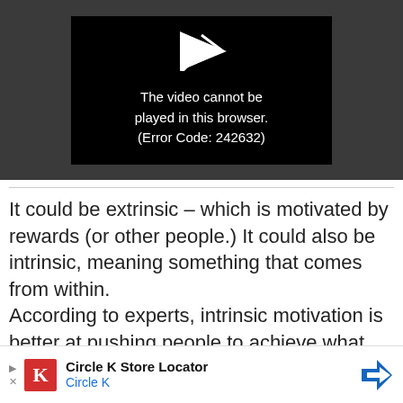[Figure (screenshot): Video player showing error message: 'The video cannot be played in this browser. (Error Code: 242632)' on a black background within a dark gray player area.]
It could be extrinsic – which is motivated by rewards (or other people.) It could also be intrinsic, meaning something that comes from within.
According to experts, intrinsic motivation is better at pushing people to achieve what they wish to achieve.
[Figure (other): Advertisement banner for Circle K Store Locator showing Circle K logo (red square with K), Circle K text in blue, play/close icons on left, and blue diamond direction arrow on right.]